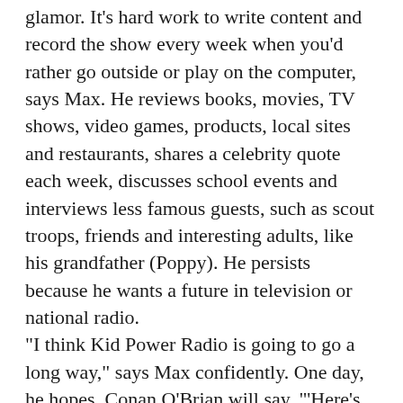glamor. It's hard work to write content and record the show every week when you'd rather go outside or play on the computer, says Max. He reviews books, movies, TV shows, video games, products, local sites and restaurants, shares a celebrity quote each week, discusses school events and interviews less famous guests, such as scout troops, friends and interesting adults, like his grandfather (Poppy). He persists because he wants a future in television or national radio. “I think Kid Power Radio is going to go a long way,” says Max confidently. One day, he hopes, Conan O’Brian will say, “‘Here’s Max Kantor, with Kid Power Radio Show’ and I’ll walk out smiling.”